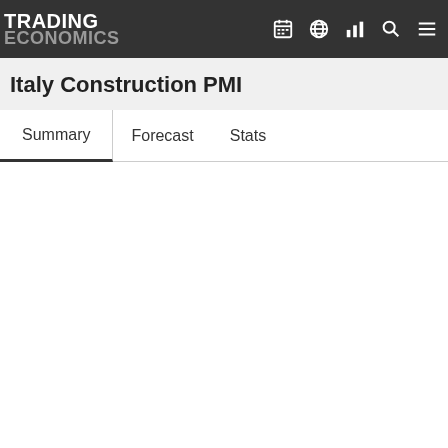TRADING ECONOMICS
Italy Construction PMI
Summary  Forecast  Stats